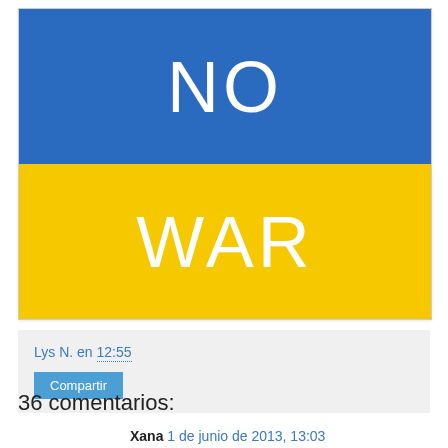[Figure (illustration): Ukrainian flag colors (blue top half, yellow bottom half) with white text 'NO' on blue section and 'WAR' on yellow section — anti-war image]
Lys N. en 12:55
Compartir
36 comentarios:
Xana 1 de junio de 2013, 13:03